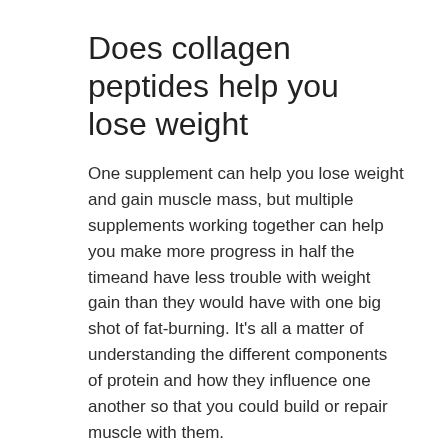Does collagen peptides help you lose weight
One supplement can help you lose weight and gain muscle mass, but multiple supplements working together can help you make more progress in half the timeand have less trouble with weight gain than they would have with one big shot of fat-burning. It's all a matter of understanding the different components of protein and how they influence one another so that you could build or repair muscle with them.
Protein is generally better for people who are looking to get "big" and that's why people like Jared Fogle, Michael Jordan, and other Olympians focus so much on getting tons of protein into their muscles. Some types of protein are better for you than others, but it's